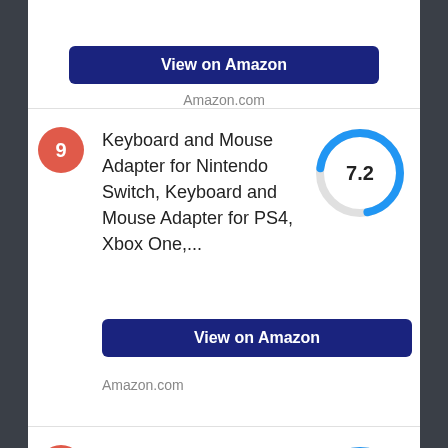[Figure (other): Partial 'View on Amazon' button (cut off at top of page)]
Amazon.com
9
Keyboard and Mouse Adapter for Nintendo Switch, Keyboard and Mouse Adapter for PS4, Xbox One,...
[Figure (donut-chart): Score]
View on Amazon
Amazon.com
10
Gaming Keyboard and Mouse Combo,88 Keys Compact Rainbow Backlit Mechanical Feel
[Figure (donut-chart): Score]